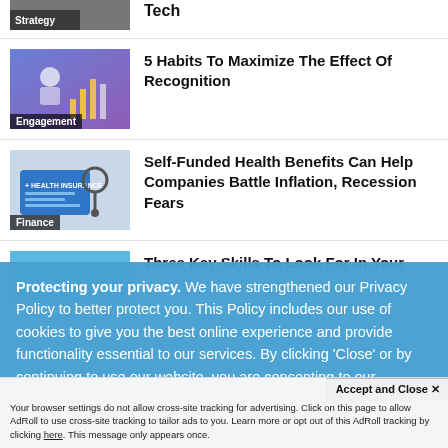[Figure (screenshot): Cropped article thumbnail with Strategy label and partial image at top]
5 Habits To Maximize The Effect Of Recognition
Self-Funded Health Benefits Can Help Companies Battle Inflation, Recession Fears
Three Key Skills To Look For In Your [next item cut off]
Protecting your privacy. We have strengthened our Privacy Policy to better protect you. This Policy includes our use of cookies to give you the best online experience and provide functionality essential to our services. By clicking 'Close' or by continuing to use our website, you are consenting to our
Accept and Close ✕
Your browser settings do not allow cross-site tracking for advertising. Click on this page to allow AdRoll to use cross-site tracking to tailor ads to you. Learn more or opt out of this AdRoll tracking by clicking here. This message only appears once.